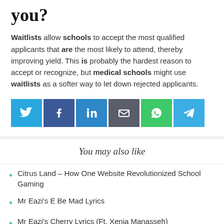you?
Waitlists allow schools to accept the most qualified applicants that are the most likely to attend, thereby improving yield. This is probably the hardest reason to accept or recognize, but medical schools might use waitlists as a softer way to let down rejected applicants.
[Figure (infographic): Social share buttons row: Twitter (blue), Facebook (dark blue), LinkedIn (blue), Email (gray), WhatsApp (green), Telegram (blue)]
You may also like
Citrus Land – How One Website Revolutionized School Gaming
Mr Eazi's E Be Mad Lyrics
Mr Eazi's Cherry Lyrics (Ft. Xenia Manasseh)